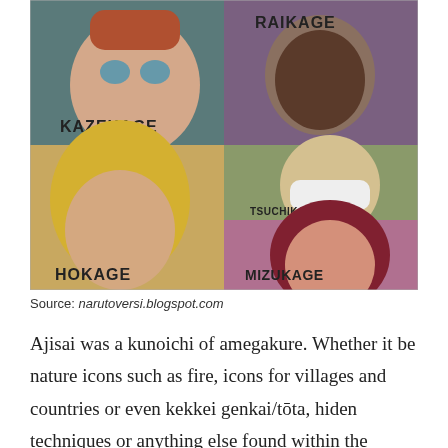[Figure (illustration): Anime illustration showing five Kage characters from Naruto: Kazekage (Gaara) top-left, Raikage top-right, Tsuchikage middle-right, Hokage (Tsunade) bottom-left, and Mizukage bottom-right, each labeled with their title on a splattered background.]
Source: narutoversi.blogspot.com
Ajisai was a kunoichi of amegakure. Whether it be nature icons such as fire, icons for villages and countries or even kekkei genkai/tōta, hiden techniques or anything else found within the naruverse.